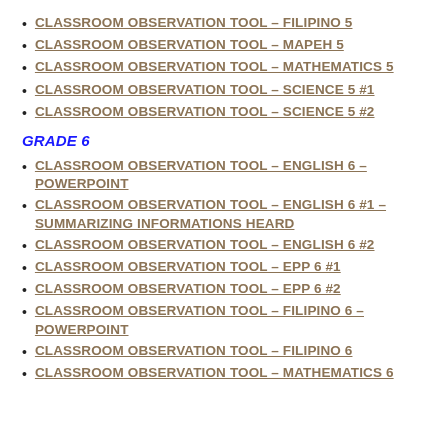CLASSROOM OBSERVATION TOOL – FILIPINO 5
CLASSROOM OBSERVATION TOOL – MAPEH 5
CLASSROOM OBSERVATION TOOL – MATHEMATICS 5
CLASSROOM OBSERVATION TOOL – SCIENCE 5 #1
CLASSROOM OBSERVATION TOOL – SCIENCE 5 #2
GRADE 6
CLASSROOM OBSERVATION TOOL – ENGLISH 6 – POWERPOINT
CLASSROOM OBSERVATION TOOL – ENGLISH 6 #1 – SUMMARIZING INFORMATIONS HEARD
CLASSROOM OBSERVATION TOOL – ENGLISH 6 #2
CLASSROOM OBSERVATION TOOL – EPP 6 #1
CLASSROOM OBSERVATION TOOL – EPP 6 #2
CLASSROOM OBSERVATION TOOL – FILIPINO 6 – POWERPOINT
CLASSROOM OBSERVATION TOOL – FILIPINO 6
CLASSROOM OBSERVATION TOOL – MATHEMATICS 6